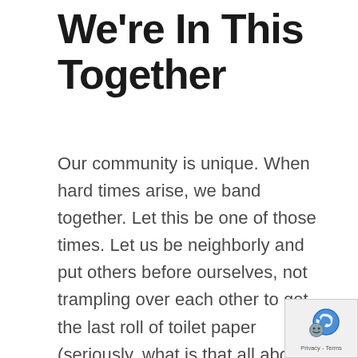We're In This Together
Our community is unique. When hard times arise, we band together. Let this be one of those times. Let us be neighborly and put others before ourselves, not trampling over each other to get the last roll of toilet paper (seriously, what is that all about?). Also, don't panic. That is the worst thing we can do. At the time of this writing, we don't have any cases of COVID-19 in our Tri-County area. So there is no need to panic and buy out stores. Support your neighbors especially the elderly and practice the
[Figure (other): reCAPTCHA badge with blue logo and Privacy - Terms text]